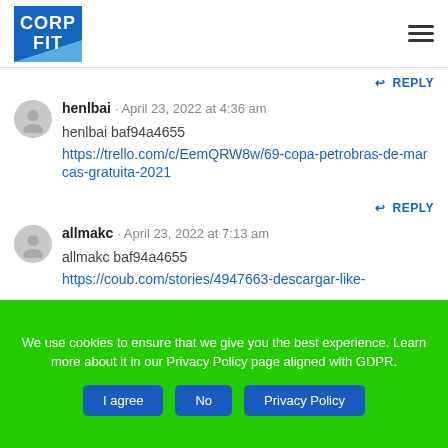CORP FIT
REPLY
henlbai · April 23, 2022 at 4:36 am
henlbai baf94a4655
https://trello.com/c/EemQRW8w/69-copa-petrobras-de-marcas-gratuita-2021
REPLY
allmakc · April 23, 2022 at 7:13 am
allmakc baf94a4655
https://coub.com/stories/4947663-descargar-like-
We use cookies to ensure that we give you the best experience. Learn more about it in our Privacy Policy page aligned with GDPR.
I agree  No  Privacy Policy